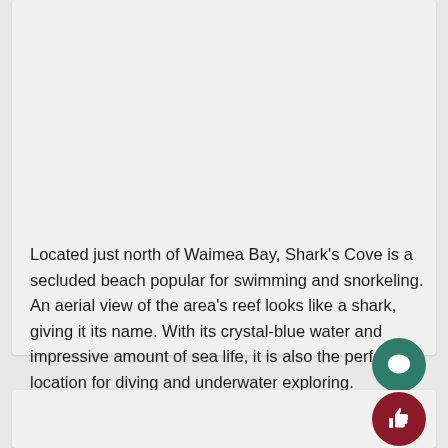Located just north of Waimea Bay, Shark's Cove is a secluded beach popular for swimming and snorkeling. An aerial view of the area's reef looks like a shark, giving it its name. With its crystal-blue water and impressive amount of sea life, it is also the perfect location for diving and underwater exploring.
[Figure (illustration): Teal/green circular button with a speech bubble / comment icon]
[Figure (illustration): Dark red/maroon circular button with a thumbs-up / like icon]